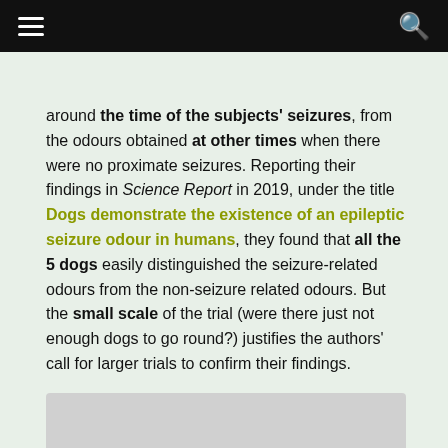≡  🔍
around the time of the subjects' seizures, from the odours obtained at other times when there were no proximate seizures. Reporting their findings in Science Report in 2019, under the title Dogs demonstrate the existence of an epileptic seizure odour in humans, they found that all the 5 dogs easily distinguished the seizure-related odours from the non-seizure related odours. But the small scale of the trial (were there just not enough dogs to go round?) justifies the authors' call for larger trials to confirm their findings.
[Figure (photo): Partial view of an image at the bottom of the page, appearing to show a light-colored rectangular object or animal on a grey background.]